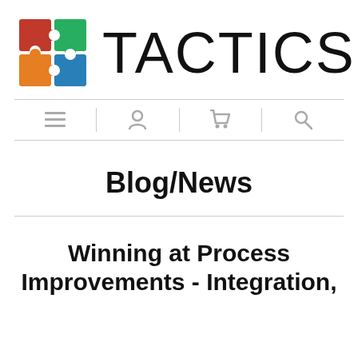[Figure (logo): TACTICS logo with colorful puzzle pieces (red, green, orange, blue) arranged in a 2x2 grid, next to the text 'TACTICS' in large thin font]
[Figure (infographic): Navigation icon bar with four icons separated by vertical lines: hamburger menu, person/account, shopping cart, search magnifier]
Blog/News
Winning at Process Improvements - Integration,